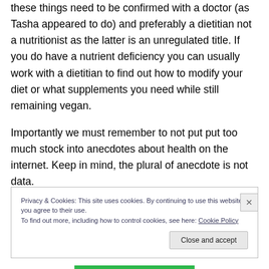these things need to be confirmed with a doctor (as Tasha appeared to do) and preferably a dietitian not a nutritionist as the latter is an unregulated title. If you do have a nutrient deficiency you can usually work with a dietitian to find out how to modify your diet or what supplements you need while still remaining vegan.
Importantly we must remember to not put put too much stock into anecdotes about health on the internet. Keep in mind, the plural of anecdote is not data.
Privacy & Cookies: This site uses cookies. By continuing to use this website, you agree to their use.
To find out more, including how to control cookies, see here: Cookie Policy